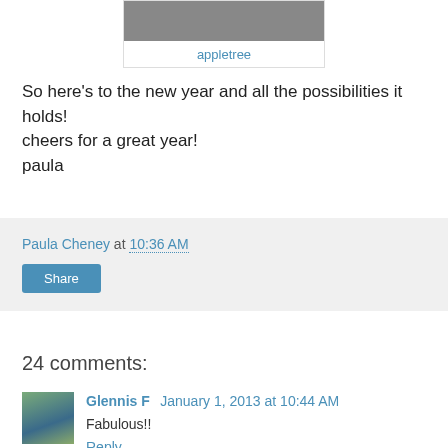[Figure (photo): A grayscale photo with caption link 'appletree' below it]
appletree
So here's to the new year and all the possibilities it holds! cheers for a great year!
paulapaulapaulapaulapaulapaulapaulapaulapaulapaulapaulapaulapaulapaulapaulapaulapaulapaulapaulapaulapaulapaulapaulapaulapaulapaulapaulapaulapaulapaulapaulapaulapaulapaulapaulapaulapaulapaulapaulapaulapaulapaulapaulapaulapaulapaulapaulapaulapaulapaulapaulapaulapaulapaulapaulapaulapaulapaulapaulapaulapaulapaulapaulapaulapaulapaulapaulapaulapaulapaulapaulapaulapaulapaulapaulapaulapaulapaulapaulapaulapaulapaulapaulapaulapaulapaulapaulapaulapaulapaulapaulapaulapaulapaulapaulapaulapaulapaulapaulapaulapaulapaulapaulapaulapaulapaulapaulapaulapaulapaulapaulapaulapaulapaulapaulapaulapaula
Paula Cheney at 10:36 AM
Share
24 comments:
Glennis F January 1, 2013 at 10:44 AM
Fabulous!!
Reply